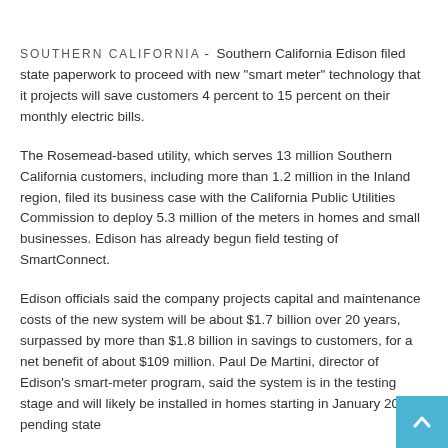SOUTHERN CALIFORNIA - Southern California Edison filed state paperwork to proceed with new "smart meter" technology that it projects will save customers 4 percent to 15 percent on their monthly electric bills.
The Rosemead-based utility, which serves 13 million Southern California customers, including more than 1.2 million in the Inland region, filed its business case with the California Public Utilities Commission to deploy 5.3 million of the meters in homes and small businesses. Edison has already begun field testing of SmartConnect.
Edison officials said the company projects capital and maintenance costs of the new system will be about $1.7 billion over 20 years, surpassed by more than $1.8 billion in savings to customers, for a net benefit of about $109 million. Paul De Martini, director of Edison's smart-meter program, said the system is in the testing stage and will likely be installed in homes starting in January 2009, pending state approval.